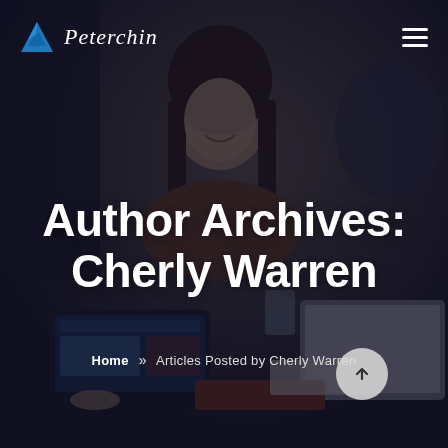[Figure (photo): Background photo of people working at a table with laptops, smiling woman in center, dark moody tone with blue-grey overlay]
Peterchin [logo with blue triangle icon] | hamburger menu icon
Author Archives: Cherly Warren
Home » Articles Posted by Cherly Warren